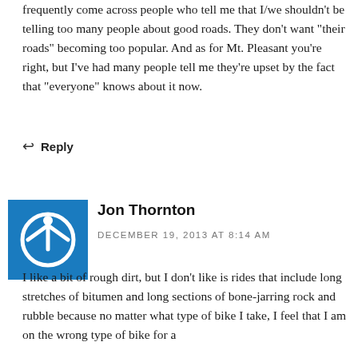frequently come across people who tell me that I/we shouldn't be telling too many people about good roads. They don't want "their roads" becoming too popular. And as for Mt. Pleasant you're right, but I've had many people tell me they're upset by the fact that "everyone" knows about it now.
↩ Reply
Jon Thornton
DECEMBER 19, 2013 AT 8:14 AM
I like a bit of rough dirt, but I don't like is rides that include long stretches of bitumen and long sections of bone-jarring rock and rubble because no matter what type of bike I take, I feel that I am on the wrong type of bike for a